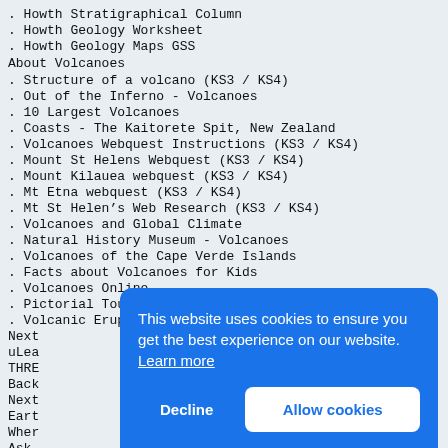. Howth Stratigraphical Column
. Howth Geology Worksheet
. Howth Geology Maps GSS
About Volcanoes
. Structure of a volcano (KS3 / KS4)
. Out of the Inferno - Volcanoes
. 10 Largest Volcanoes
. Coasts - The Kaitorete Spit, New Zealand
. Volcanoes Webquest Instructions (KS3 / KS4)
. Mount St Helens Webquest (KS3 / KS4)
. Mount Kilauea webquest (KS3 / KS4)
. Mt Etna webquest (KS3 / KS4)
. Mt St Helen’s Web Research (KS3 / KS4)
. Volcanoes and Global Climate
. Natural History Museum - Volcanoes
. Volcanoes of the Cape Verde Islands
. Facts about Volcanoes for Kids
. Volcanoes Online
. Pictorial Tour of Pompeii
. Volcanic Eruption Animation
Next
uLea
THRE
Back
Next
Eart
Wher
Ask
and
the
loca
distinguish between earthquakes and volcanoes. Ask
[Figure (screenshot): Cookie consent banner overlay with blue background. Text: 'This website uses cookies to ensure you get the best experience on our website. Learn more'. Two buttons: 'Decline' and 'Allow cookies'.]